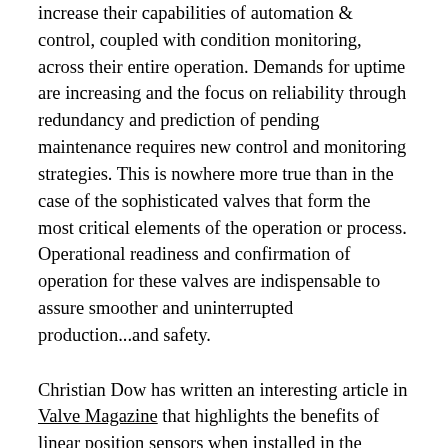increase their capabilities of automation & control, coupled with condition monitoring, across their entire operation. Demands for uptime are increasing and the focus on reliability through redundancy and prediction of pending maintenance requires new control and monitoring strategies. This is nowhere more true than in the case of the sophisticated valves that form the most critical elements of the operation or process. Operational readiness and confirmation of operation for these valves are indispensable to assure smoother and uninterrupted production...and safety.
Christian Dow has written an interesting article in Valve Magazine that highlights the benefits of linear position sensors when installed in the hydraulic actuators of these valves. The benefits mentioned in the article don't apply just for valves, though. Many of the advantages can be obtained for almost any application where a hydraulic actuator is the element.